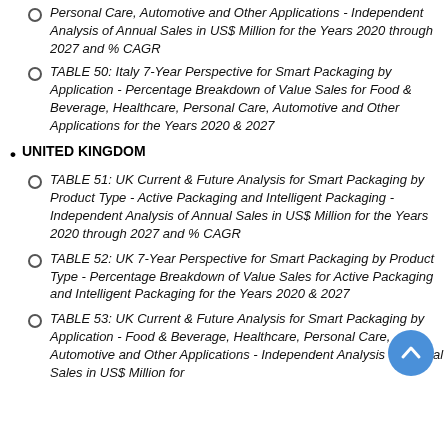Personal Care, Automotive and Other Applications - Independent Analysis of Annual Sales in US$ Million for the Years 2020 through 2027 and % CAGR
TABLE 50: Italy 7-Year Perspective for Smart Packaging by Application - Percentage Breakdown of Value Sales for Food & Beverage, Healthcare, Personal Care, Automotive and Other Applications for the Years 2020 & 2027
UNITED KINGDOM
TABLE 51: UK Current & Future Analysis for Smart Packaging by Product Type - Active Packaging and Intelligent Packaging - Independent Analysis of Annual Sales in US$ Million for the Years 2020 through 2027 and % CAGR
TABLE 52: UK 7-Year Perspective for Smart Packaging by Product Type - Percentage Breakdown of Value Sales for Active Packaging and Intelligent Packaging for the Years 2020 & 2027
TABLE 53: UK Current & Future Analysis for Smart Packaging by Application - Food & Beverage, Healthcare, Personal Care, Automotive and Other Applications - Independent Analysis of Annual Sales in US$ Million for